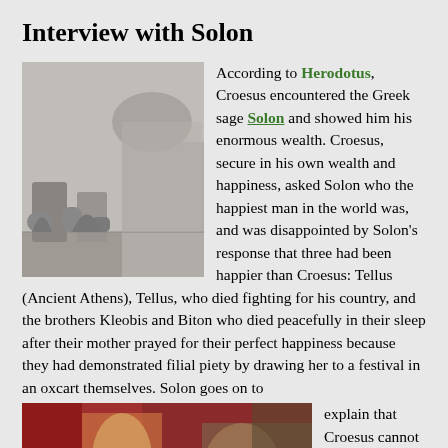Interview with Solon
[Figure (illustration): Black and white engraving showing figures in what appears to be an ancient or medieval scene with barrels and archways]
According to Herodotus, Croesus encountered the Greek sage Solon and showed him his enormous wealth. Croesus, secure in his own wealth and happiness, asked Solon who the happiest man in the world was, and was disappointed by Solon's response that three had been happier than Croesus: Tellus (Ancient Athens), Tellus, who died fighting for his country, and the brothers Kleobis and Biton who died peacefully in their sleep after their mother prayed for their perfect happiness because they had demonstrated filial piety by drawing her to a festival in an oxcart themselves. Solon goes on to explain that Croesus cannot be the happiest man because the fickleness of fortune means that the
[Figure (illustration): Color painting showing figures in elaborate robes in what appears to be a royal or classical scene with red drapery]